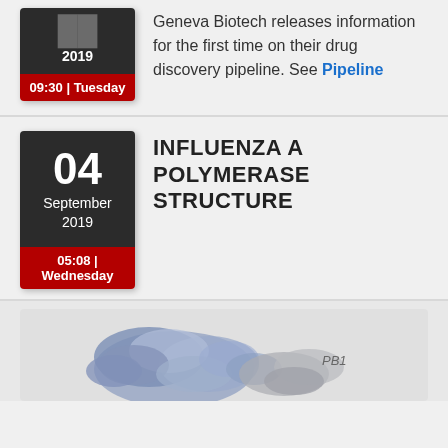Geneva Biotech releases information for the first time on their drug discovery pipeline. See Pipeline
INFLUENZA A POLYMERASE STRUCTURE
[Figure (illustration): 3D molecular structure illustration of Influenza A Polymerase with label PB1]